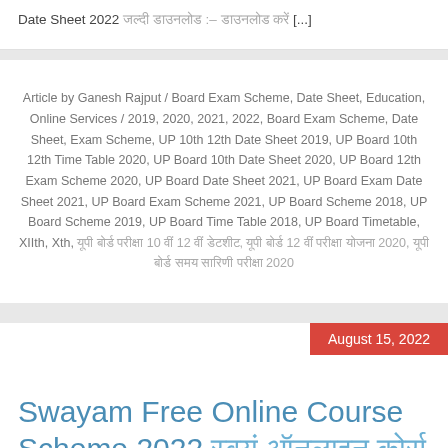Date Sheet 2022 जल्दी डाउनलोड :– डाउनलोड करें [...]
Article by Ganesh Rajput / Board Exam Scheme, Date Sheet, Education, Online Services / 2019, 2020, 2021, 2022, Board Exam Scheme, Date Sheet, Exam Scheme, UP 10th 12th Date Sheet 2019, UP Board 10th 12th Time Table 2020, UP Board 10th Date Sheet 2020, UP Board 12th Exam Scheme 2020, UP Board Date Sheet 2021, UP Board Exam Date Sheet 2021, UP Board Exam Scheme 2021, UP Board Scheme 2018, UP Board Scheme 2019, UP Board Time Table 2018, UP Board Timetable, XIIth, Xth, यूपी बोर्ड परीक्षा 10 वीं 12 वीं डेटशीट, यूपी बोर्ड 12 वीं परीक्षा योजना 2020, यूपी बोर्ड समय सारिणी परीक्षा 2020
August 15, 2022
Swayam Free Online Course Scheme 2022 स्वयं ऑनलाइन कोर्स योजना